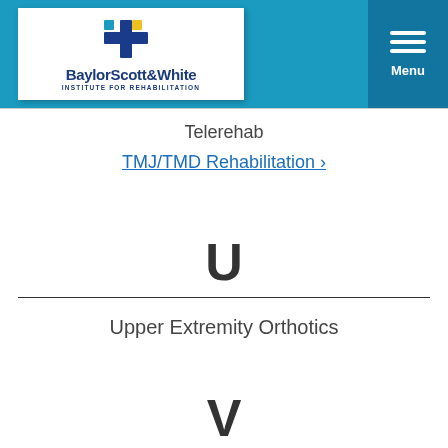[Figure (logo): Baylor Scott & White Institute for Rehabilitation logo with blue and yellow cross icon]
Telerehab
TMJ/TMD Rehabilitation ›
U
Upper Extremity Orthotics
V